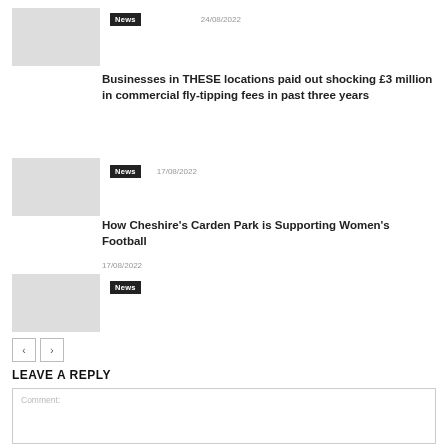News
24/08/2022
Businesses in THESE locations paid out shocking £3 million in commercial fly-tipping fees in past three years
News
17/08/2022
How Cheshire's Carden Park is Supporting Women's Football
17/08/2022
News
LEAVE A REPLY
Comment: